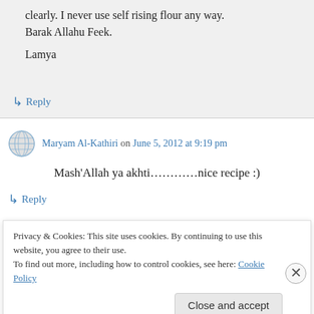clearly. I never use self rising flour any way.
Barak Allahu Feek.

Lamya
↳ Reply
Maryam Al-Kathiri on June 5, 2012 at 9:19 pm
Mash'Allah ya akhti…………nice recipe :)
↳ Reply
Privacy & Cookies: This site uses cookies. By continuing to use this website, you agree to their use.
To find out more, including how to control cookies, see here: Cookie Policy
Close and accept